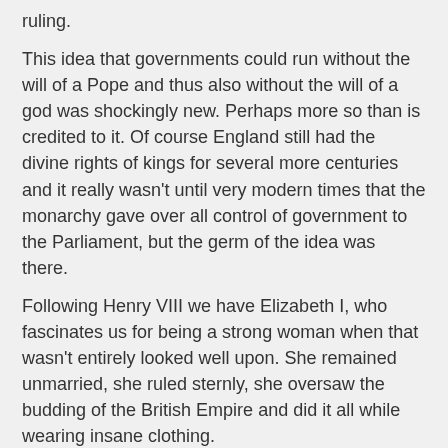ruling.
This idea that governments could run without the will of a Pope and thus also without the will of a god was shockingly new. Perhaps more so than is credited to it. Of course England still had the divine rights of kings for several more centuries and it really wasn't until very modern times that the monarchy gave over all control of government to the Parliament, but the germ of the idea was there.
Following Henry VIII we have Elizabeth I, who fascinates us for being a strong woman when that wasn't entirely looked well upon. She remained unmarried, she ruled sternly, she oversaw the budding of the British Empire and did it all while wearing insane clothing.
The Borgias of course are a scandalous rich family from Spain. Who ran things. All things. Two of their family raised to the Papal Seat. They openly fought with the Medici and Sforza. They were
[Figure (illustration): Heraldic coat of arms illustration featuring a black double-headed eagle at the top and a red-robed crowned figure below, representing a medieval/Renaissance heraldic emblem.]